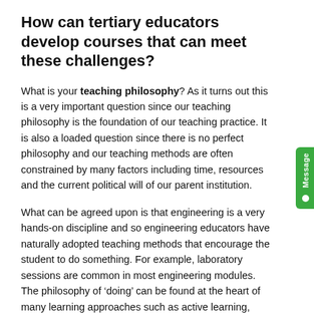How can tertiary educators develop courses that can meet these challenges?
What is your teaching philosophy? As it turns out this is a very important question since our teaching philosophy is the foundation of our teaching practice. It is also a loaded question since there is no perfect philosophy and our teaching methods are often constrained by many factors including time, resources and the current political will of our parent institution.
What can be agreed upon is that engineering is a very hands-on discipline and so engineering educators have naturally adopted teaching methods that encourage the student to do something. For example, laboratory sessions are common in most engineering modules. The philosophy of ‘doing’ can be found at the heart of many learning approaches such as active learning, blended learning, project based learning, problem based learning, discovery based learning, and experiential learning. All these ideological approaches have their roots in constructivism. When applied to